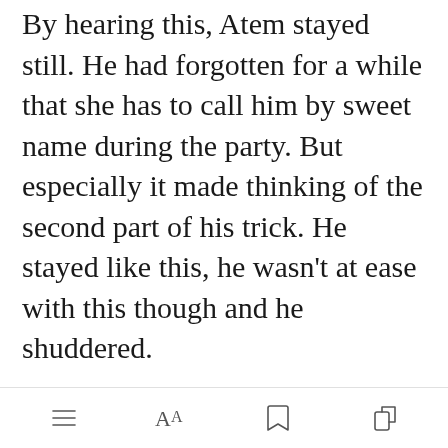By hearing this, Atem stayed still. He had forgotten for a while that she has to call him by sweet name during the party. But especially it made thinking of the second part of his trick. He stayed like this, he wasn't at ease with this though and he shuddered.
Anzu looked at him and noticed his discomfort and shuddering. Unfortunately Anzu took this for her
[Figure (other): Green 'Open in app' button overlay on the text]
Toolbar with menu, font size, bookmark, and share icons